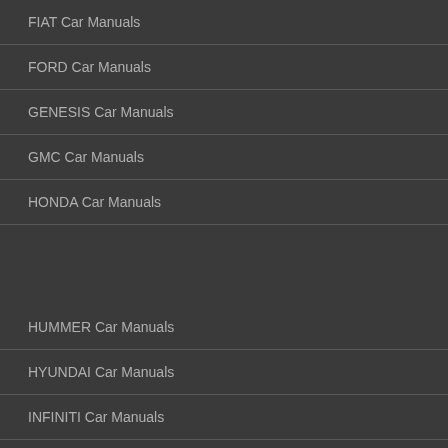FIAT Car Manuals
FORD Car Manuals
GENESIS Car Manuals
GMC Car Manuals
HONDA Car Manuals
HUMMER Car Manuals
HYUNDAI Car Manuals
INFINITI Car Manuals
JAGUAR Car Manuals
JEEP Car Manuals